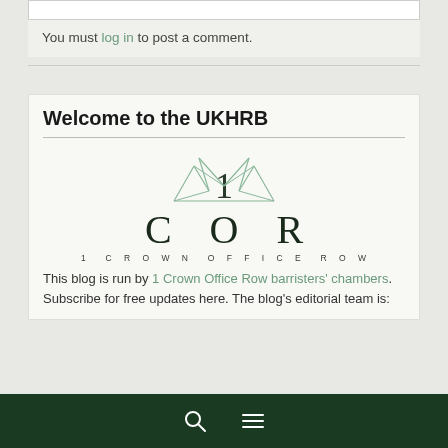You must log in to post a comment.
Welcome to the UKHRB
[Figure (logo): 1 Crown Office Row logo with crown graphic above large '1 COR' text and '1 CROWN OFFICE ROW' subtitle]
This blog is run by 1 Crown Office Row barristers' chambers. Subscribe for free updates here. The blog's editorial team is:
Search and menu icons navigation bar